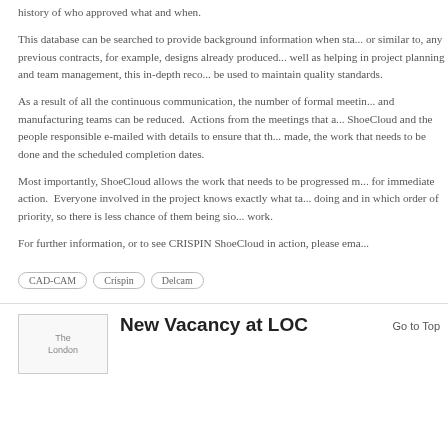history of who approved what and when.
This database can be searched to provide background information when sta... or similar to, any previous contracts, for example, designs already produced... well as helping in project planning and team management, this in-depth reco... be used to maintain quality standards.
As a result of all the continuous communication, the number of formal meetin... and manufacturing teams can be reduced.  Actions from the meetings that a... ShoeCloud and the people responsible e-mailed with details to ensure that th... made, the work that needs to be done and the scheduled completion dates.
Most importantly, ShoeCloud allows the work that needs to be progressed m... for immediate action.  Everyone involved in the project knows exactly what ta... doing and in which order of priority, so there is less chance of them being sio... work.
For further information, or to see CRISPIN ShoeCloud in action, please ema...
CAD-CAM
Crispin
Delcam
New Vacancy at LOC